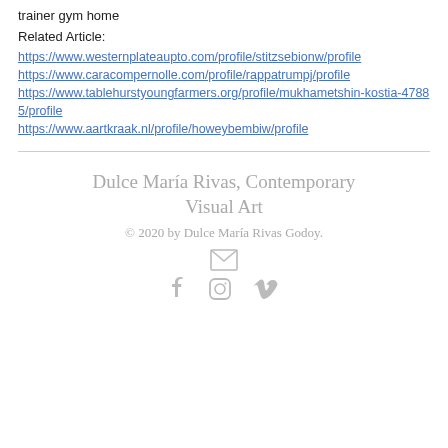trainer gym home
Related Article:
https://www.westernplateaupto.com/profile/stitzsebionw/profile
https://www.caracompernolle.com/profile/rappatrumpj/profile
https://www.tablehurstyoungfarmers.org/profile/mukhametshin-kostia-47885/profile
https://www.aartkraak.nl/profile/howeybembiw/profile
Dulce María Rivas, Contemporary Visual Art
© 2020 by Dulce María Rivas Godoy.